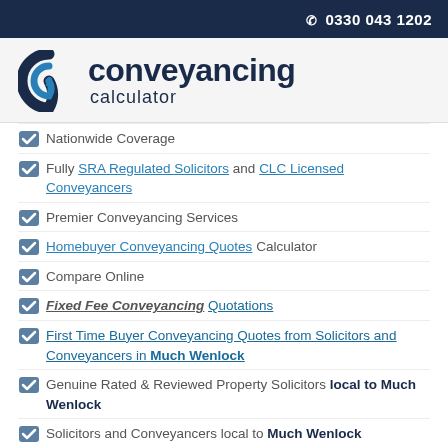0330 043 1202
[Figure (logo): Conveyancing Calculator logo with stylized C and pound sign icon]
Nationwide Coverage
Fully SRA Regulated Solicitors and CLC Licensed Conveyancers
Premier Conveyancing Services
Homebuyer Conveyancing Quotes Calculator
Compare Online
Fixed Fee Conveyancing Quotations
First Time Buyer Conveyancing Quotes from Solicitors and Conveyancers in Much Wenlock
Genuine Rated & Reviewed Property Solicitors local to Much Wenlock
Solicitors and Conveyancers local to Much Wenlock
Instant Online Conveyancing Quotes - Compare & Save Time &